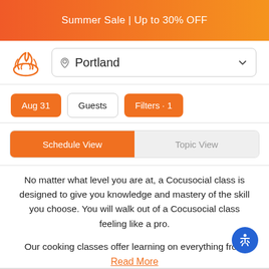Summer Sale | Up to 30% OFF
[Figure (logo): Cocusocial orange flame/hand logo]
Portland
Aug 31
Guests
Filters · 1
Schedule View
Topic View
No matter what level you are at, a Cocusocial class is designed to give you knowledge and mastery of the skill you choose. You will walk out of a Cocusocial class feeling like a pro.
Our cooking classes offer learning on everything from
Read More